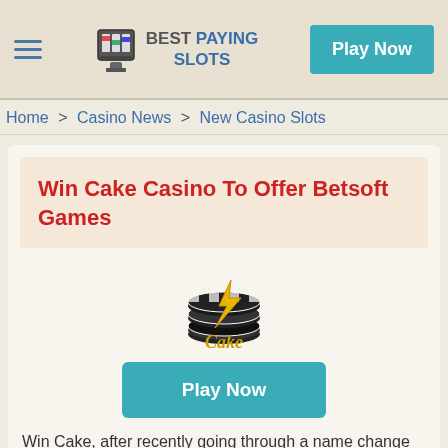Best Paying Slots — Play Now
Home > Casino News > New Casino Slots
Win Cake Casino To Offer Betsoft Games
[Figure (logo): Cake casino logo: stack of black and white casino chips with a gold lightning bolt, text 'Cake' in ornate gold lettering below]
Play Now
Win Cake, after recently going through a name change and a huge brand overhaul are keeping the changes coming, and this particular change means a whole lot